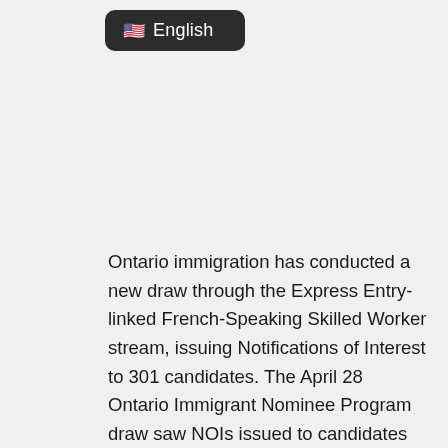[Figure (other): Language selector button showing US flag emoji and 'English' text on dark rounded rectangle background]
Ontario immigration has conducted a new draw through the Express Entry-linked French-Speaking Skilled Worker stream, issuing Notifications of Interest to 301 candidates. The April 28 Ontario Immigrant Nominee Program draw saw NOIs issued to candidates with Comprehensive Ranking System (CRS) scores between 460 and 467. To qualify for the draw, candidates had to submit Express